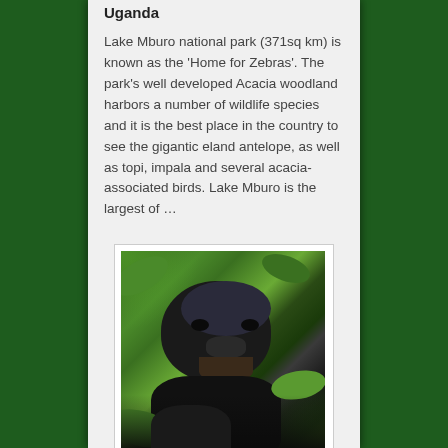Uganda
Lake Mburo national park (371sq km) is known as the 'Home for Zebras'. The park's well developed Acacia woodland harbors a number of wildlife species and it is the best place in the country to see the gigantic eland antelope, as well as topi, impala and several acacia-associated birds. Lake Mburo is the largest of …
[Figure (photo): A chimpanzee sitting among green tropical foliage, looking directly at the camera. The chimp has dark fur and is surrounded by lush green leaves.]